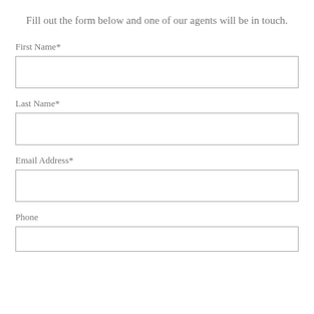Fill out the form below and one of our agents will be in touch.
First Name*
Last Name*
Email Address*
Phone